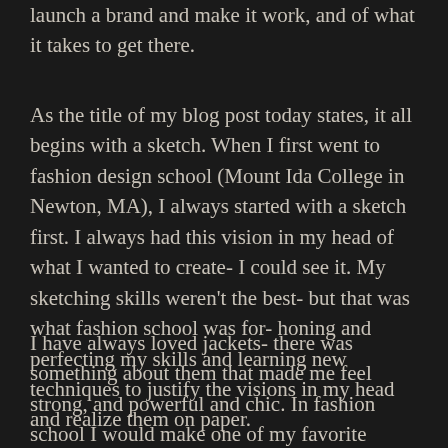launch a brand and make it work, and of what it takes to get there.
As the title of my blog post today states, it all begins with a sketch. When I first went to fashion design school (Mount Ida College in Newton, MA), I always started with a sketch first. I always had this vision in my head of what I wanted to create- I could see it. My sketching skills weren't the best- but that was what fashion school was for- honing and perfecting my skills and learning new techniques to justify the visions in my head and realize them on paper.
I have always loved jackets- there was something about them that made me feel strong, and powerful and chic. In fashion school I would make one of my favorite tailored jackets- it was an ivory jacket with forest green contrast cuffs, collar, and buttons. God I